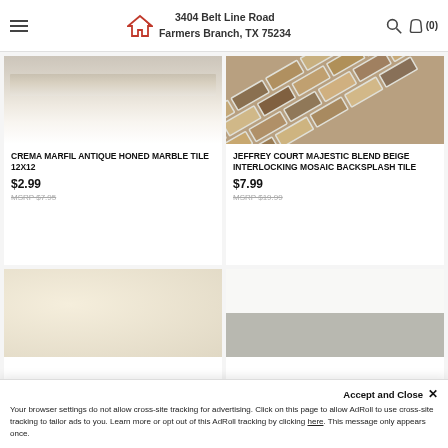3404 Belt Line Road
Farmers Branch, TX 75234
[Figure (photo): Crema Marfil antique honed marble tile border strip - light beige marble]
CREMA MARFIL ANTIQUE HONED MARBLE TILE 12X12
$2.99
MSRP $7.95
[Figure (photo): Jeffrey Court Majestic Blend Beige interlocking mosaic backsplash tile - diagonal mosaic pattern]
JEFFREY COURT MAJESTIC BLEND BEIGE INTERLOCKING MOSAIC BACKSPLASH TILE
$7.99
MSRP $19.99
[Figure (photo): Cream/beige porcelain floor tile - solid light cream color]
[Figure (photo): Light gray tile - white top half, light gray bottom half]
Accept and Close ×
Your browser settings do not allow cross-site tracking for advertising. Click on this page to allow AdRoll to use cross-site tracking to tailor ads to you. Learn more or opt out of this AdRoll tracking by clicking here. This message only appears once.